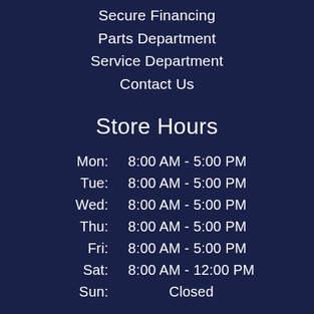Secure Financing
Parts Department
Service Department
Contact Us
Store Hours
| Day | Hours |
| --- | --- |
| Mon: | 8:00 AM - 5:00 PM |
| Tue: | 8:00 AM - 5:00 PM |
| Wed: | 8:00 AM - 5:00 PM |
| Thu: | 8:00 AM - 5:00 PM |
| Fri: | 8:00 AM - 5:00 PM |
| Sat: | 8:00 AM - 12:00 PM |
| Sun: | Closed |
Social